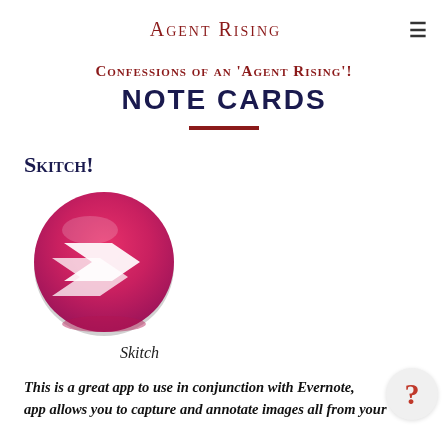Agent Rising
Confessions of an 'Agent Rising'!
NOTE CARDS
Skitch!
[Figure (logo): Skitch app logo: a circular pink-to-magenta gradient button with a white double-arrow chevron icon pointing right]
Skitch
This is a great app to use in conjunction with Evernote, app allows you to capture and annotate images all from your